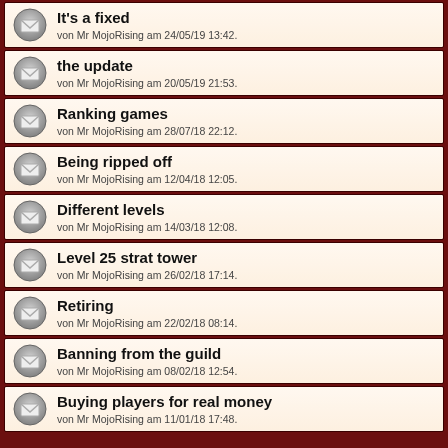It's a fixed
von Mr MojoRising am 24/05/19 13:42.
the update
von Mr MojoRising am 20/05/19 21:53.
Ranking games
von Mr MojoRising am 28/07/18 22:12.
Being ripped off
von Mr MojoRising am 12/04/18 12:05.
Different levels
von Mr MojoRising am 14/03/18 12:08.
Level 25 strat tower
von Mr MojoRising am 26/02/18 17:14.
Retiring
von Mr MojoRising am 22/02/18 08:14.
Banning from the guild
von Mr MojoRising am 08/02/18 12:54.
Buying players for real money
von Mr MojoRising am 11/01/18 17:48.